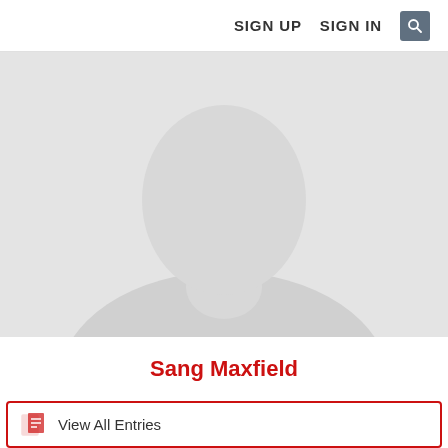SIGN UP  SIGN IN
[Figure (illustration): Generic default user avatar silhouette on light gray background — head and shoulders of a faceless person placeholder image]
Sang Maxfield
View All Entries